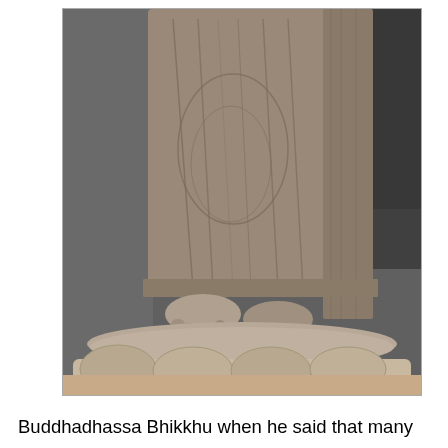[Figure (photo): Close-up photograph of the lower portion of a large stone Buddha statue, showing the robes, bare feet, and a lotus-petal pedestal base. The background is a dark rock face.]
Buddhadhassa Bhikkhu when he said that many